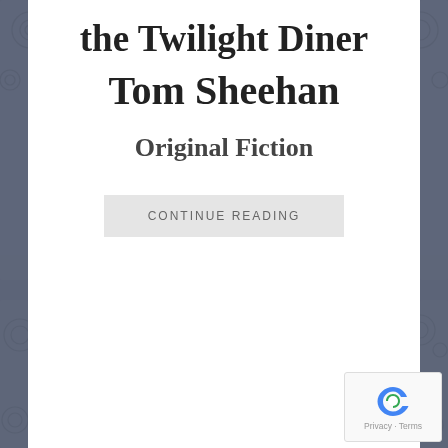the Twilight Diner
Tom Sheehan
Original Fiction
CONTINUE READING
DECEMBER 23RD, 2015 AT 06:54AM
Rusty and Flo